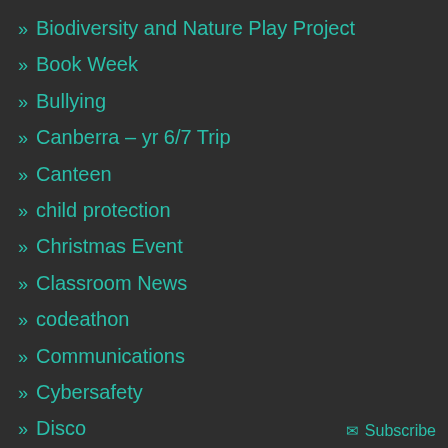» Biodiversity and Nature Play Project
» Book Week
» Bullying
» Canberra – yr 6/7 Trip
» Canteen
» child protection
» Christmas Event
» Classroom News
» codeathon
» Communications
» Cybersafety
» Disco
» Events
» Executive Function
✉ Subscribe